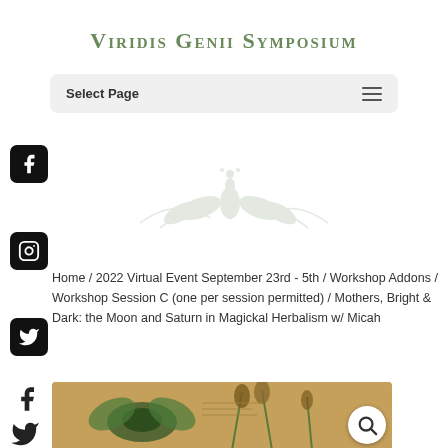Viridis Genii Symposium
Select Page
[Figure (logo): Decorative botanical/floral watermark logo for Viridis Genii Symposium]
Home / 2022 Virtual Event September 23rd - 5th / Workshop Addons / Workshop Session C (one per session permitted) / Mothers, Bright & Dark: the Moon and Saturn in Magickal Herbalism w/ Micah
[Figure (photo): Botanical illustration with insects and plants, product image]